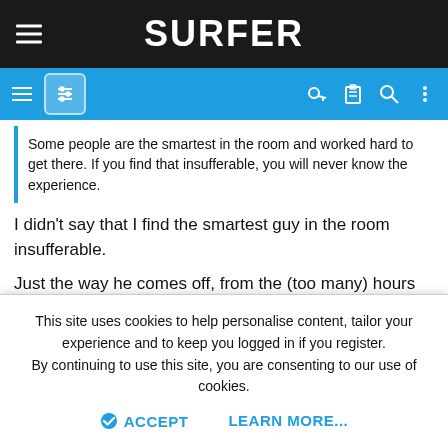SURFER
Some people are the smartest in the room and worked hard to get there. If you find that insufferable, you will never know the experience.
I didn't say that I find the smartest guy in the room insufferable.
Just the way he comes off, from the (too many) hours I've heard him talk on podcasts.
freeride76
Michael Peterson status
This site uses cookies to help personalise content, tailor your experience and to keep you logged in if you register.
By continuing to use this site, you are consenting to our use of cookies.
ACCEPT   LEARN MORE...